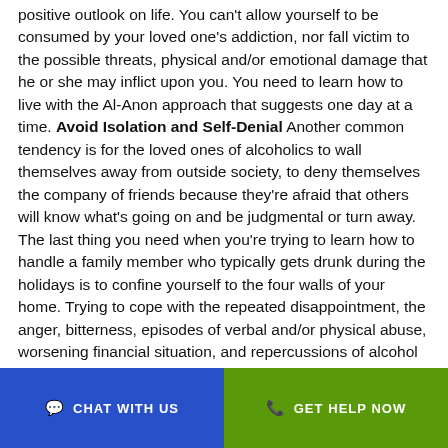positive outlook on life. You can't allow yourself to be consumed by your loved one's addiction, nor fall victim to the possible threats, physical and/or emotional damage that he or she may inflict upon you. You need to learn how to live with the Al-Anon approach that suggests one day at a time. Avoid Isolation and Self-Denial Another common tendency is for the loved ones of alcoholics to wall themselves away from outside society, to deny themselves the company of friends because they're afraid that others will know what's going on and be judgmental or turn away. The last thing you need when you're trying to learn how to handle a family member who typically gets drunk during the holidays is to confine yourself to the four walls of your home. Trying to cope with the repeated disappointment, the anger, bitterness, episodes of verbal and/or physical abuse, worsening financial situation, and repercussions of alcohol abuse that may
CHAT WITH US   GET HELP NOW